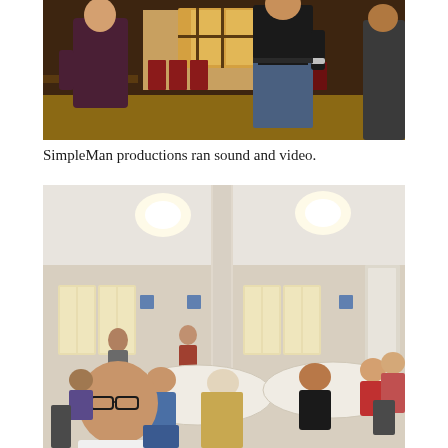[Figure (photo): Two people standing in a wood-paneled hall or church room with red chairs and stained glass windows in the background. One person wears a dark maroon/purple shirt, the other wears a dark t-shirt and jeans.]
SimpleMan productions ran sound and video.
[Figure (photo): Group of people seated around round tables in a large bright room with tall windows and overhead lights. Several men and women are visible, appearing to be at a meeting or community gathering.]